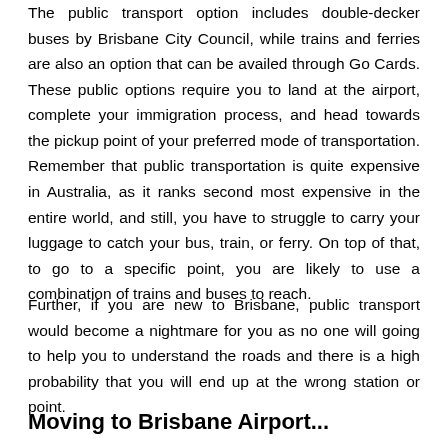The public transport option includes double-decker buses by Brisbane City Council, while trains and ferries are also an option that can be availed through Go Cards. These public options require you to land at the airport, complete your immigration process, and head towards the pickup point of your preferred mode of transportation. Remember that public transportation is quite expensive in Australia, as it ranks second most expensive in the entire world, and still, you have to struggle to carry your luggage to catch your bus, train, or ferry. On top of that, to go to a specific point, you are likely to use a combination of trains and buses to reach.
Further, if you are new to Brisbane, public transport would become a nightmare for you as no one will going to help you to understand the roads and there is a high probability that you will end up at the wrong station or point.
Moving to Brisbane Airport...